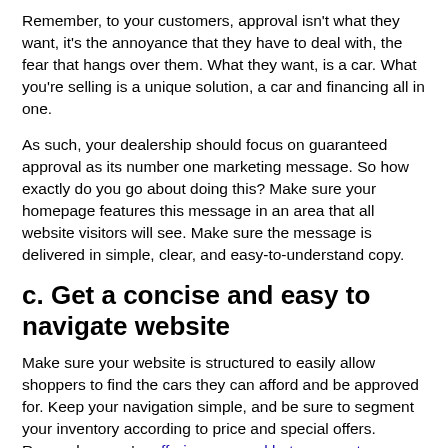Remember, to your customers, approval isn't what they want, it's the annoyance that they have to deal with, the fear that hangs over them. What they want, is a car. What you're selling is a unique solution, a car and financing all in one.
As such, your dealership should focus on guaranteed approval as its number one marketing message. So how exactly do you go about doing this? Make sure your homepage features this message in an area that all website visitors will see. Make sure the message is delivered in simple, clear, and easy-to-understand copy.
c. Get a concise and easy to navigate website
Make sure your website is structured to easily allow shoppers to find the cars they can afford and be approved for. Keep your navigation simple, and be sure to segment your inventory according to price and special offers. Remember, you're offering approval but your customers are shopping for cars. Include shopping tools that make it easy for shoppers to find a car that has what they want and they can afford.